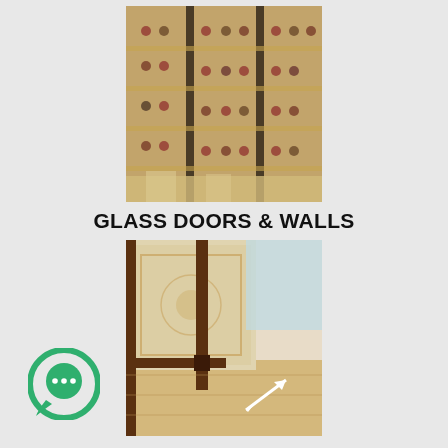[Figure (photo): Photo of a wine cellar with glass doors and walls, showing wooden wine racks filled with bottles.]
GLASS DOORS & WALLS
[Figure (photo): Close-up photo of a glass door corner at floor level with a white double-headed arrow indicating swing or traffic direction, on a patterned rug and wood floor.]
HIGH TRAFFIC
[Figure (other): Chat/messaging bubble icon in green with three dots, positioned bottom-left corner.]